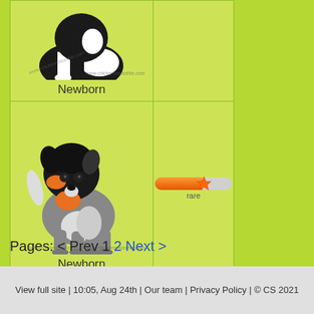[Figure (illustration): Partial view of a black and white cat/dog newborn pet from chickensmoothie.com, top row of grid]
Newborn
[Figure (illustration): Full view of a black and grey dog newborn pet with orange markings from chickensmoothie.com, rare rarity]
[Figure (infographic): Rarity bar showing rare level with orange fill and star marker]
rare
Newborn
Pages: < Prev 1 2 Next >
View full site | 10:05, Aug 24th | Our team | Privacy Policy | © CS 2021